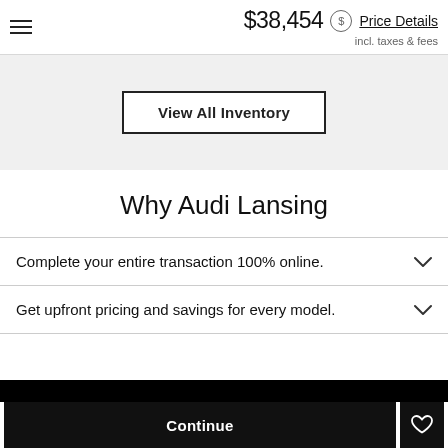$38,454 incl. taxes & fees — Price Details
View All Inventory
Why Audi Lansing
Complete your entire transaction 100% online.
Get upfront pricing and savings for every model.
Continue